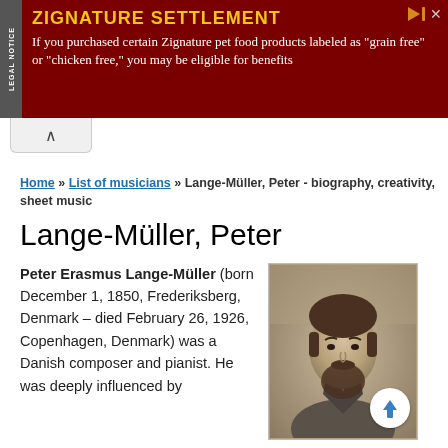[Figure (screenshot): Advertisement banner for Zignature Settlement. Dark red/maroon background. Text reads: ZIGNATURE SETTLEMENT - If you purchased certain Zignature pet food products labeled as "grain free" or "chicken free," you may be eligible for benefits. Legal notice sidebar on left.]
Home » List of musicians » Lange-Müller, Peter - biography, creativity, sheet music
Lange-Müller, Peter
Peter Erasmus Lange-Müller (born December 1, 1850, Frederiksberg, Denmark – died February 26, 1926, Copenhagen, Denmark) was a Danish composer and pianist. He was deeply influenced by
[Figure (photo): Sepia-toned historical portrait photograph of Peter Erasmus Lange-Müller, showing a bearded man in a suit.]